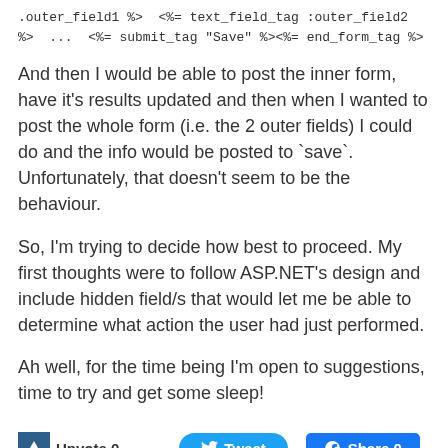.outer_field1 %> <%= text_field_tag :outer_field2 %> ... <%= submit_tag "Save" %><%= end_form_tag %>
And then I would be able to post the inner form, have it’s results updated and then when I wanted to post the whole form (i.e. the 2 outer fields) I could do and the info would be posted to `save`. Unfortunately, that doesn’t seem to be the behaviour.
So, I’m trying to decide how best to proceed. My first thoughts were to follow ASP.NET’s design and include hidden field/s that would let me be able to determine what action the user had just performed.
Ah well, for the time being I’m open to suggestions, time to try and get some sleep!
Upvote 0  Tweet  Share 0